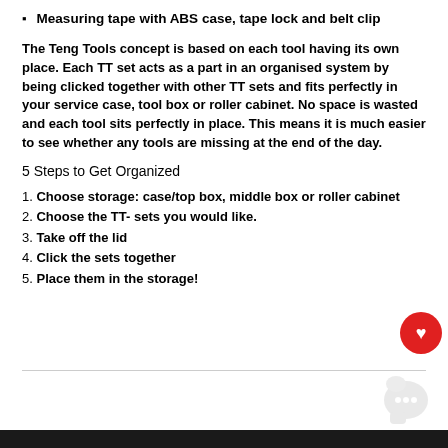Measuring tape with ABS case, tape lock and belt clip
The Teng Tools concept is based on each tool having its own place. Each TT set acts as a part in an organised system by being clicked together with other TT sets and fits perfectly in your service case, tool box or roller cabinet. No space is wasted and each tool sits perfectly in place. This means it is much easier to see whether any tools are missing at the end of the day.
5 Steps to Get Organized
Choose storage: case/top box, middle box or roller cabinet
Choose the TT- sets you would like.
Take off the lid
Click the sets together
Place them in the storage!